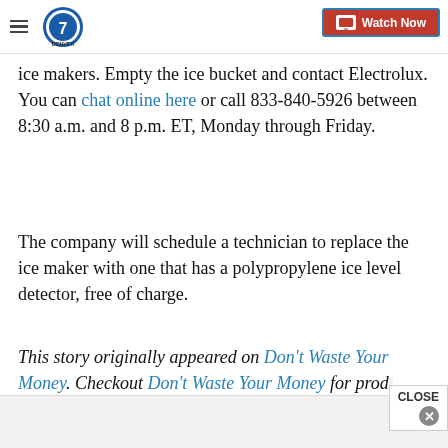Denver 7 — Watch Now
ice makers. Empty the ice bucket and contact Electrolux. You can chat online here or call 833-840-5926 between 8:30 a.m. and 8 p.m. ET, Monday through Friday.
The company will schedule a technician to replace the ice maker with one that has a polypropylene ice level detector, free of charge.
This story originally appeared on Don't Waste Your Money. Checkout Don't Waste Your Money for product reviews and other great ideas to save and make mo…